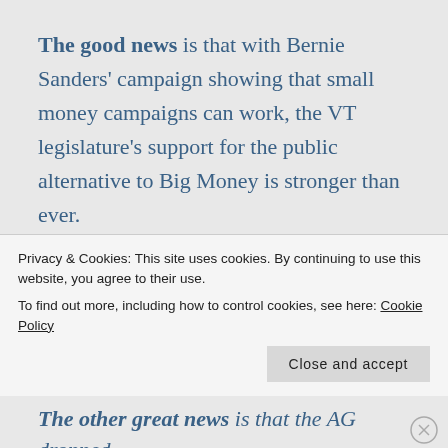The good news is that with Bernie Sanders' campaign showing that small money campaigns can work, the VT legislature's support for the public alternative to Big Money is stronger than ever.
The great news is that the VT Supreme Court issued a unanimous decision in a separate public records case that should result in the release of
Privacy & Cookies: This site uses cookies. By continuing to use this website, you agree to their use.
To find out more, including how to control cookies, see here: Cookie Policy
The other great news is that the AG dropped